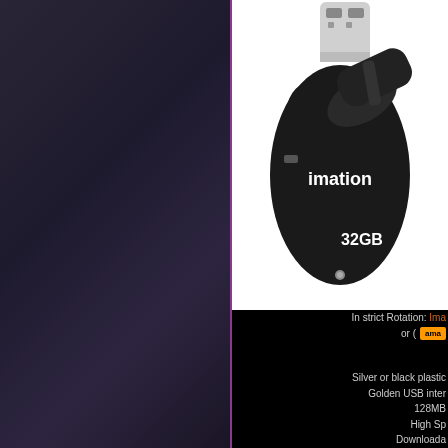[Figure (photo): Imation 32GB USB flash drive, black plastic body with 'imation' branding in white text and '32GB' label, shown with cap off revealing golden USB connector]
In strict Rotation: Ima...
or [amazon logo]
Silver or black plastic
Golden USB inter
128MB
High Sp
Downloada
Password